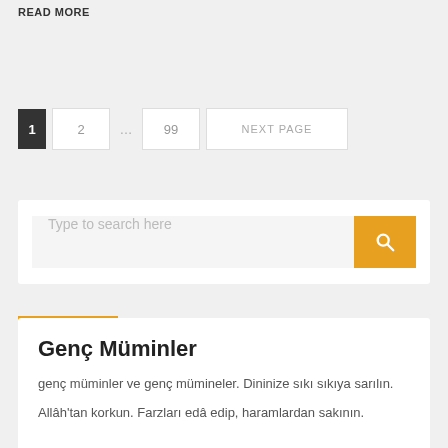READ MORE
1  2  ...  99  NEXT PAGE
[Figure (screenshot): Search input field with placeholder 'Type to search here' and an orange search button with magnifying glass icon]
Genç Müminler
genç müminler ve genç mümineler. Dininize sıkı sıkıya sarılın.
Allâh'tan korkun. Farzları edâ edip, haramlardan sakının.